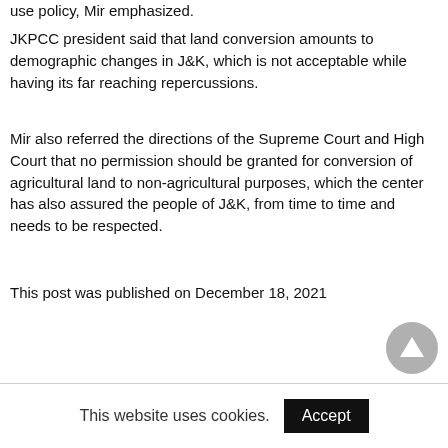use policy, Mir emphasized.
JKPCC president said that land conversion amounts to demographic changes in J&K, which is not acceptable while having its far reaching repercussions.
Mir also referred the directions of the Supreme Court and High Court that no permission should be granted for conversion of agricultural land to non-agricultural purposes, which the center has also assured the people of J&K, from time to time and needs to be respected.
This post was published on December 18, 2021
[Figure (other): Grey circular scroll-to-top button with upward pointing triangle]
This website uses cookies.
Accept